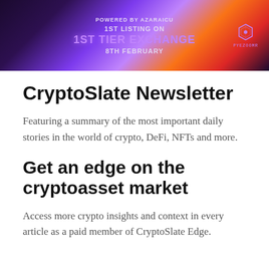[Figure (infographic): Dark purple/orange gradient banner advertisement. Text reads: POWERED BY AZARAICU / 1ST LISTING ON / 1ST TIER EXCHANGE / 8TH FEBRUARY. A purple diamond/gem logo appears on the right with the wordmark PYEZOOME below it.]
CryptoSlate Newsletter
Featuring a summary of the most important daily stories in the world of crypto, DeFi, NFTs and more.
Get an edge on the cryptoasset market
Access more crypto insights and context in every article as a paid member of CryptoSlate Edge.